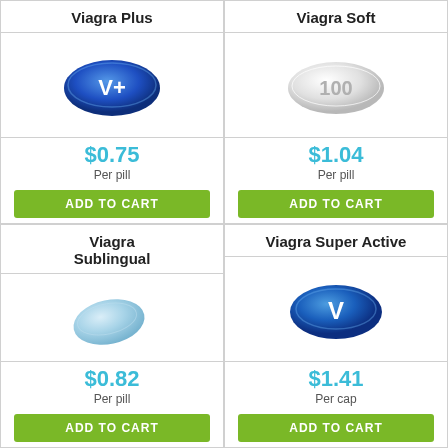Viagra Plus
[Figure (illustration): Blue oval pill with V+ text]
$0.75 Per pill
ADD TO CART
Viagra Soft
[Figure (illustration): White oval pill with 100 text]
$1.04 Per pill
ADD TO CART
Viagra Sublingual
[Figure (illustration): Light blue teardrop shaped pill]
$0.82 Per pill
ADD TO CART
Viagra Super Active
[Figure (illustration): Blue oval pill with V text]
$1.41 Per cap
ADD TO CART